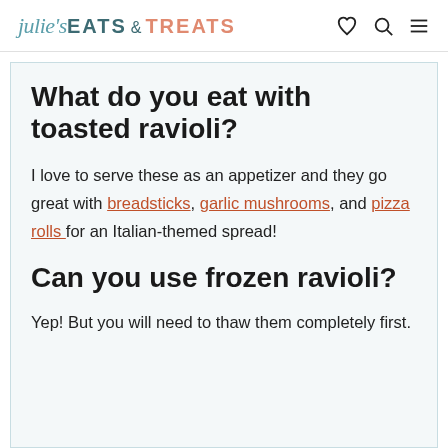julie's EATS & TREATS
What do you eat with toasted ravioli?
I love to serve these as an appetizer and they go great with breadsticks, garlic mushrooms, and pizza rolls for an Italian-themed spread!
Can you use frozen ravioli?
Yep! But you will need to thaw them completely first.